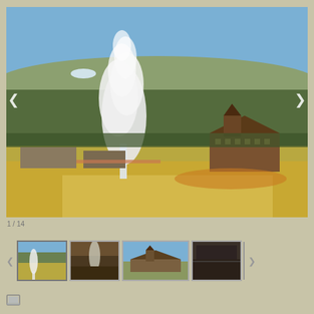[Figure (photo): Aerial/elevated view of Old Faithful geyser erupting at Yellowstone National Park with the historic Old Faithful Inn visible in the background, surrounded by forest, open fields, and mountain ridges under a clear blue sky.]
1 / 14
[Figure (photo): Thumbnail 1: Old Faithful geyser erupting, wide landscape view]
[Figure (photo): Thumbnail 2: Geyser erupting, closer view]
[Figure (photo): Thumbnail 3: Old Faithful Inn building from outside]
[Figure (photo): Thumbnail 4: Dark forest/interior scene]
[Figure (photo): Small document/share icon at bottom left]